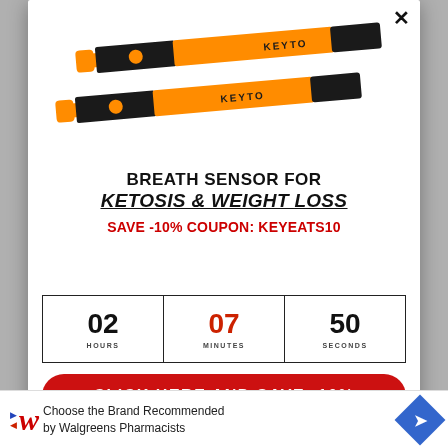[Figure (photo): Two Keyto breath sensor devices (black and orange pen-shaped devices) shown at slight angles against white background]
BREATH SENSOR FOR KETOSIS & WEIGHT LOSS
SAVE -10% COUPON: KEYEATS10
| HOURS | MINUTES | SECONDS |
| --- | --- | --- |
| 02 | 07 | 50 |
CLICK HERE AND SAVE -10%
Choose the Brand Recommended by Walgreens Pharmacists